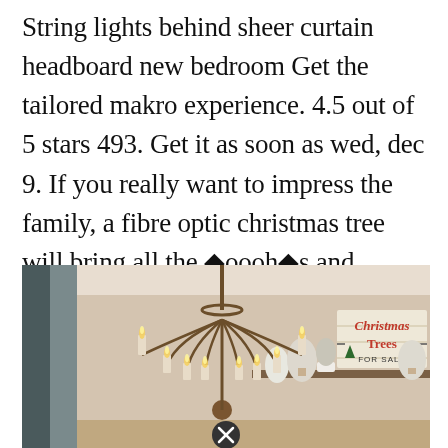String lights behind sheer curtain headboard new bedroom Get the tailored makro experience. 4.5 out of 5 stars 493. Get it as soon as wed, dec 9. If you really want to impress the family, a fibre optic christmas tree will bring all the �oooh�s and �aaah�s. Get it as soon as wed, dec 9.
[Figure (photo): Interior photo showing an elegant multi-arm chandelier with candle-style bulbs hanging in a room, with a shelf/mantle visible in the background displaying small white Christmas trees and a rustic wooden sign reading 'Christmas Trees FOR SALE' in red and black lettering. A circular close/cancel button is visible at the bottom center.]